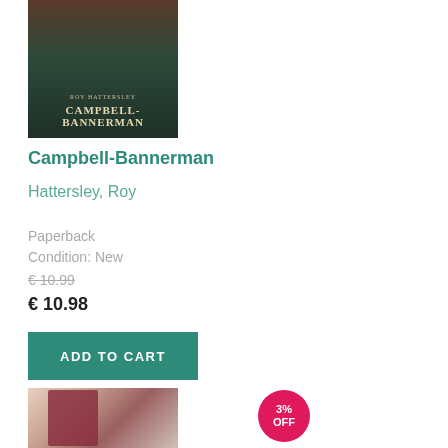[Figure (photo): Book cover for Campbell-Bannerman by Roy Hattersley, dark green/brown cover with title text]
Campbell-Bannerman
Hattersley, Roy
Paperback
Condition: New
€ 10.99
€ 10.98
ADD TO CART
[Figure (photo): Book cover showing a woman in Victorian dress and hat, sepia toned]
3% OFF